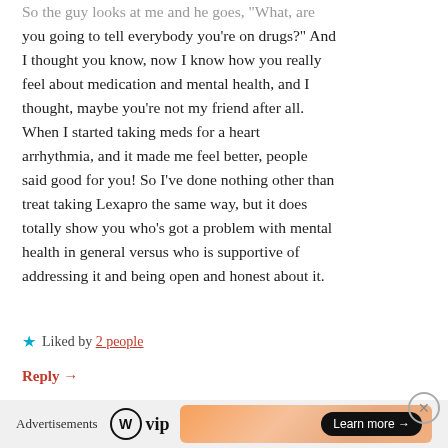So the guy looks at me and he goes, "What, are you going to tell everybody you're on drugs?" And I thought you know, now I know how you really feel about medication and mental health, and I thought, maybe you're not my friend after all. When I started taking meds for a heart arrhythmia, and it made me feel better, people said good for you! So I've done nothing other than treat taking Lexapro the same way, but it does totally show you who's got a problem with mental health in general versus who is supportive of addressing it and being open and honest about it.
Liked by 2 people
Reply →
Advertisements
[Figure (logo): WordPress VIP logo with circle W icon and 'vip' text]
[Figure (other): Advertisement banner with gradient orange background and 'Learn more →' button]